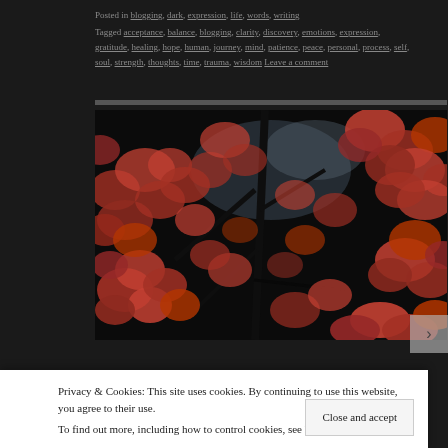Posted in blogging, dark, expression, life, words, writing
Tagged acceptance, balance, blogging, clarity, discovery, emotions, expression, gratitude, healing, hope, human, journey, mind, patience, peace, personal, process, self, soul, strength, thoughts, time, trauma, wisdom Leave a comment
[Figure (photo): Close-up photograph of vivid red Japanese maple leaves with dark branches against a blurred background, shot from below looking upward.]
Privacy & Cookies: This site uses cookies. By continuing to use this website, you agree to their use.
To find out more, including how to control cookies, see here: Cookie Policy
Close and accept